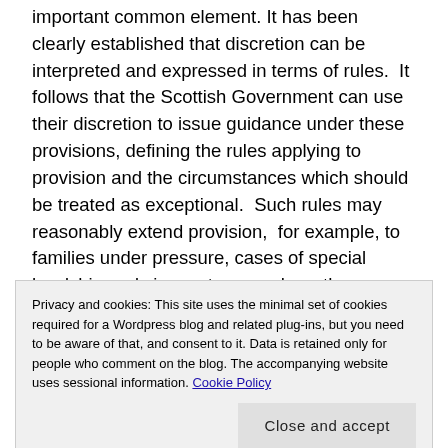important common element. It has been clearly established that discretion can be interpreted and expressed in terms of rules.  It follows that the Scottish Government can use their discretion to issue guidance under these provisions, defining the rules applying to provision and the circumstances which should be treated as exceptional.  Such rules may reasonably extend provision,  for example, to families under pressure, cases of special hardship and circumstances where the personal circumstances of the claimant,  such as mental illness or conflicting
Privacy and cookies: This site uses the minimal set of cookies required for a Wordpress blog and related plug-ins, but you need to be aware of that, and consent to it. Data is retained only for people who comment on the blog. The accompanying website uses sessional information. Cookie Policy
defining an exceptional circumstance,  which could